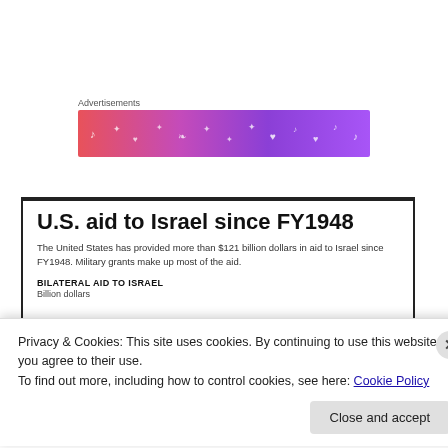Advertisements
[Figure (illustration): Advertisement banner with colorful gradient from pink/red to purple, with decorative music and heart icons in white]
U.S. aid to Israel since FY1948
The United States has provided more than $121 billion dollars in aid to Israel since FY1948. Military grants make up most of the aid.
BILATERAL AID TO ISRAEL
Billion dollars
Privacy & Cookies: This site uses cookies. By continuing to use this website, you agree to their use.
To find out more, including how to control cookies, see here: Cookie Policy